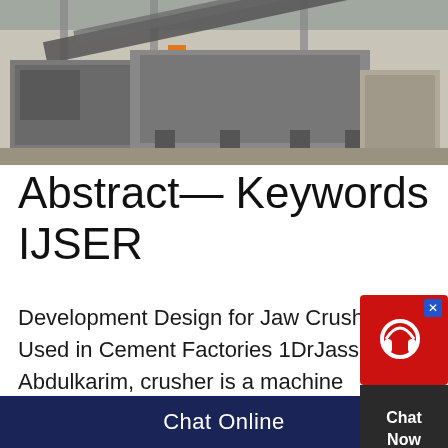[Figure (photo): Industrial jaw crusher machine in a factory setting, large grey metal structure with conveyor belt frame, orange ladder visible in background]
Abstract— Keywords IJSER
Development Design for Jaw Crusher Used in Cement Factories 1DrJassim M Abdulkarim, crusher is a machine designed to reduce large rocks into smaller rocks, gravel, or rock dustCrushers may be used domestic jaw crusher structure and crushing cavity is still relatively backward Over the past 10 years, with the jaw
Chat Online